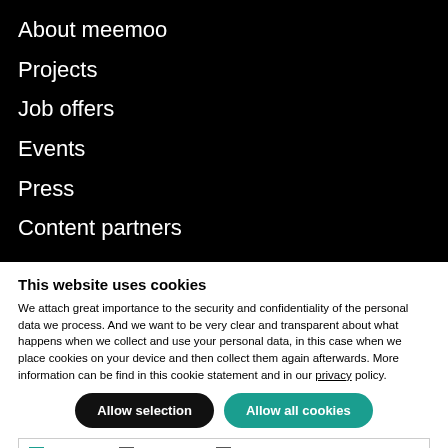About meemoo
Projects
Job offers
Events
Press
Content partners
This website uses cookies
We attach great importance to the security and confidentiality of the personal data we process. And we want to be very clear and transparent about what happens when we collect and use your personal data, in this case when we place cookies on your device and then collect them again afterwards. More information can be find in this cookie statement and in our privacy policy.
Allow selection | Allow all cookies
Necessary  Preferences  Statistics  Marketing  Show details